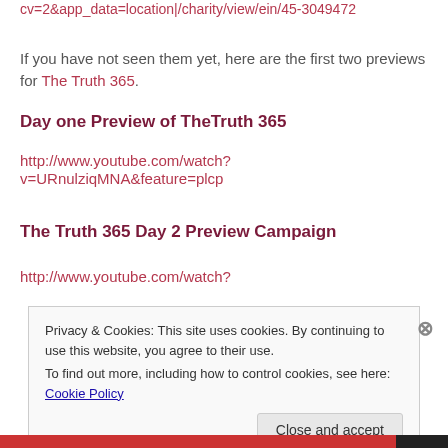cv=2&app_data=location|/charity/view/ein/45-3049472
If you have not seen them yet, here are the first two previews for The Truth 365.
Day one Preview of TheTruth 365
http://www.youtube.com/watch?v=URnulziqMNA&feature=plcp
The Truth 365 Day 2 Preview Campaign
http://www.youtube.com/watch?
Privacy & Cookies: This site uses cookies. By continuing to use this website, you agree to their use.
To find out more, including how to control cookies, see here: Cookie Policy
Close and accept